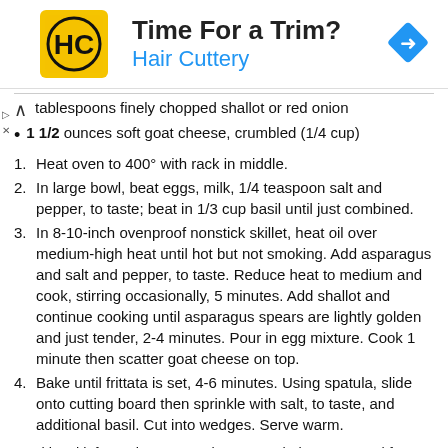[Figure (other): Hair Cuttery advertisement banner with yellow logo, 'Time For a Trim?' headline, blue 'Hair Cuttery' subtext, and blue diamond arrow icon]
tablespoons finely chopped shallot or red onion
1 1/2   ounces soft goat cheese, crumbled (1/4 cup)
1. Heat oven to 400° with rack in middle.
2. In large bowl, beat eggs, milk, 1/4 teaspoon salt and pepper, to taste; beat in 1/3 cup basil until just combined.
3. In 8-10-inch ovenproof nonstick skillet, heat oil over medium-high heat until hot but not smoking. Add asparagus and salt and pepper, to taste. Reduce heat to medium and cook, stirring occasionally, 5 minutes. Add shallot and continue cooking until asparagus spears are lightly golden and just tender, 2-4 minutes. Pour in egg mixture. Cook 1 minute then scatter goat cheese on top.
4. Bake until frittata is set, 4-6 minutes. Using spatula, slide onto cutting board then sprinkle with salt, to taste, and additional basil. Cut into wedges. Serve warm.
Nutritional information per serving: 140 calories; 10 g total fat; 190